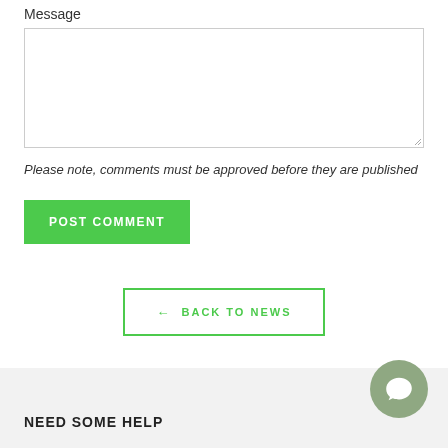Message
Please note, comments must be approved before they are published
POST COMMENT
← BACK TO NEWS
NEED SOME HELP